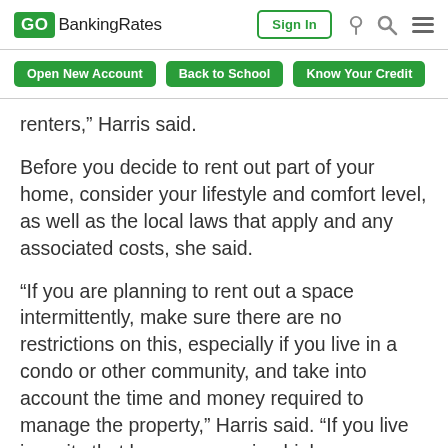GOBankingRates | Sign In
Open New Account | Back to School | Know Your Credit
renters,” Harris said.
Before you decide to rent out part of your home, consider your lifestyle and comfort level, as well as the local laws that apply and any associated costs, she said.
“If you are planning to rent out a space intermittently, make sure there are no restrictions on this, especially if you live in a condo or other community, and take into account the time and money required to manage the property,” Harris said. “If you live in a city that has an upcoming high-